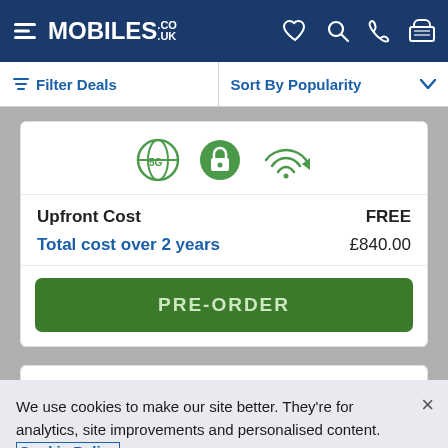MOBILES.CO.UK
Filter Deals   Sort By Popularity
[Figure (infographic): Three green circular icons: a globe/5G icon, a lock icon, and a WiFi signal icon]
Upfront Cost   FREE
Total cost over 2 years   £840.00
PRE-ORDER
We use cookies to make our site better. They're for analytics, site improvements and personalised content. Cookie Policy
Cookies Settings   Accept All Cookies